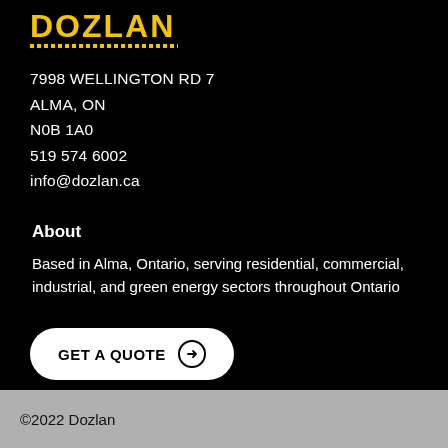[Figure (logo): Dozlan company logo in bold yellow text with dotted underline]
7998 WELLINGTON RD 7
ALMA, ON
N0B 1A0
519 574 6002
info@dozlan.ca
About
Based in Alma, Ontario, serving residential, commercial, industrial, and green energy sectors throughout Ontario
GET A QUOTE →
©2022 Dozlan